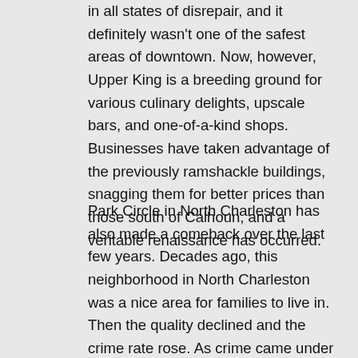in all states of disrepair, and it definitely wasn't one of the safest areas of downtown. Now, however, Upper King is a breeding ground for various culinary delights, upscale bars, and one-of-a-kind shops. Businesses have taken advantage of the previously ramshackle buildings, snagging them for better prices than those south of Calhoun, and a veritable renaissance has occurred.
Park Circle in North Charleston has also made a comeback over the last few years. Decades ago, this neighborhood in North Charleston was a nice area for families to live in. Then the quality declined and the crime rate rose. As crime came under better control, would-be business owners and residents began to sit up and take notice of Park Circle's potential. Neighborhoods were cleaned up, parks were constructed or given facelifts, and even new